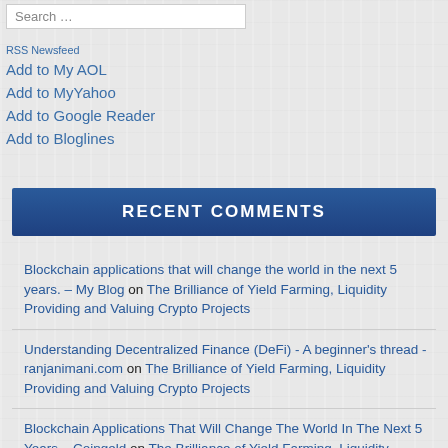Search …
RSS Newsfeed
Add to My AOL
Add to MyYahoo
Add to Google Reader
Add to Bloglines
RECENT COMMENTS
Blockchain applications that will change the world in the next 5 years. – My Blog on The Brilliance of Yield Farming, Liquidity Providing and Valuing Crypto Projects
Understanding Decentralized Finance (DeFi) - A beginner's thread - ranjanimani.com on The Brilliance of Yield Farming, Liquidity Providing and Valuing Crypto Projects
Blockchain Applications That Will Change The World In The Next 5 Years – Coingeld on The Brilliance of Yield Farming, Liquidity Providing and Valuing Crypto Projects
Blockchain Applications That Will Change The World In The